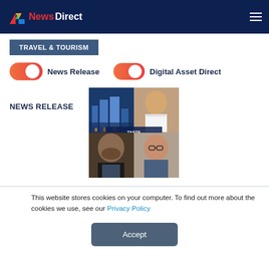NewsDirect
TRAVEL & TOURISM
News Release
Digital Asset Direct
NEWS RELEASE
[Figure (photo): Collage of four images: city skyline at night, chef in white uniform, bearded man in apron, woman with glasses. Overlaid text: TASTE OF THE MEL, CENYOUth.]
This website stores cookies on your computer. To find out more about the cookies we use, see our Privacy Policy
Accept